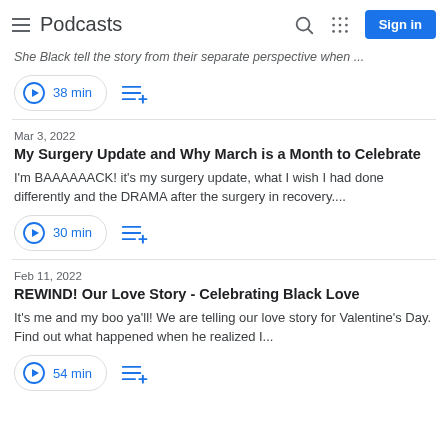Podcasts
She Black tell the story from their separate perspective when ...
38 min
Mar 3, 2022
My Surgery Update and Why March is a Month to Celebrate
I'm BAAAAAACK! it's my surgery update, what I wish I had done differently and the DRAMA after the surgery in recovery....
30 min
Feb 11, 2022
REWIND! Our Love Story - Celebrating Black Love
It's me and my boo ya'll! We are telling our love story for Valentine's Day. Find out what happened when he realized I...
54 min